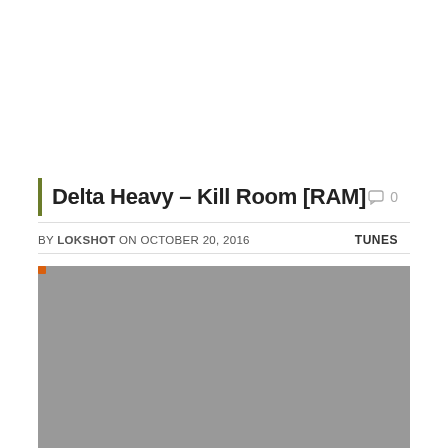Delta Heavy – Kill Room [RAM]
BY LOKSHOT ON OCTOBER 20, 2016  TUNES
[Figure (photo): Gray placeholder image area representing embedded media/video content]